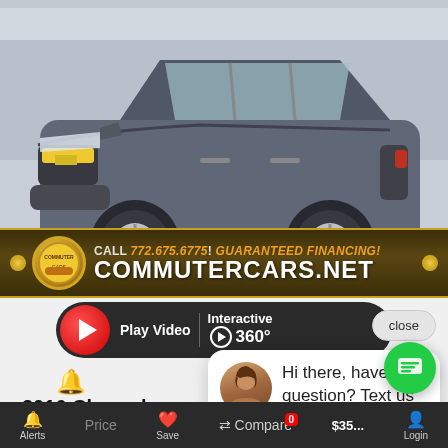[Figure (photo): Dark grey Chevrolet SUV (2016) displayed in dealership showroom, front three-quarter view]
[Figure (logo): Commuter Cars dealership banner with logo, phone number 772.675.6775, GUARANTEED FINANCING!, and COMMUTERCARS.NET]
[Figure (screenshot): Video/360 interactive play bar with red play button, Play Video and Interactive 360 degree options, and close button]
[Figure (photo): Chat popup with woman avatar photo and text: Hi there, have a question? Text us here.]
2016 Chevrol
s: 92,383  Stoc
ket Value:
$30,063
You Save:
Alerts  Price  Save  Compare 0  $35...  Login